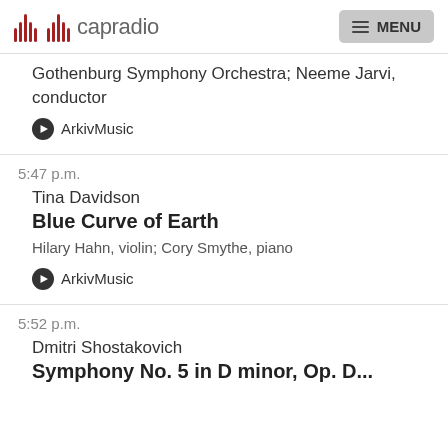capradio  MENU
Gothenburg Symphony Orchestra; Neeme Jarvi, conductor
ArkivMusic
5:47 p.m.
Tina Davidson
Blue Curve of Earth
Hilary Hahn, violin; Cory Smythe, piano
ArkivMusic
5:52 p.m.
Dmitri Shostakovich